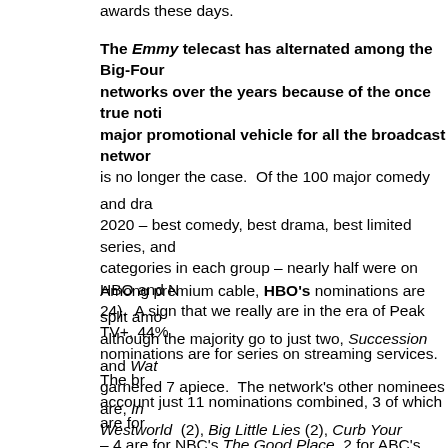awards these days.
The Emmy telecast has alternated among the Big-Four networks over the years because of the once true notion it is a major promotional vehicle for all the broadcast networks. That is no longer the case. Of the 100 major comedy and drama awards in 2020 – best comedy, best drama, best limited series, and the top categories in each group – nearly half were on HBO and Netflix (24). A sign that we really are in the era of Peak TV+, 44% of nominations are for series on streaming services. The broadcast account just 11 nominations combined, 3 of which are for NBC – 4 are for NBC's The Good Place, 2 for ABC's Black-ish, NBC's This is Us and Brooklyn Nine Nine.
Among premium cable, HBO's nominations are split among many, although the majority go to just two, Succession and Watchmen, garnered 7 apiece. The network's other nominees are, Insecure, Westworld (2), Big Little Lies (2), Curb Your Enthusiasm (1), and I Know This Much is True (1). Showtime managed just 1 for Black Monday.